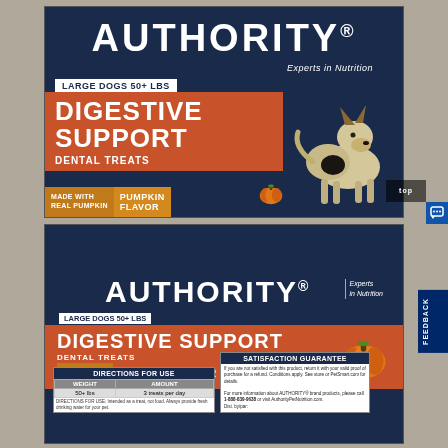[Figure (photo): Top photo of Authority brand dog treat package — Digestive Support Dental Treats for Large Dogs 50+ lbs, Pumpkin Flavor, Made with Real Pumpkin, showing a German Shepherd dog on the package front.]
[Figure (photo): Bottom photo of the back/side of same Authority Digestive Support Dental Treats package showing brand name, product description, Directions for Use table (Weight: 50+ lbs, Amount: 3 treats per day), and Satisfaction Guarantee text.]